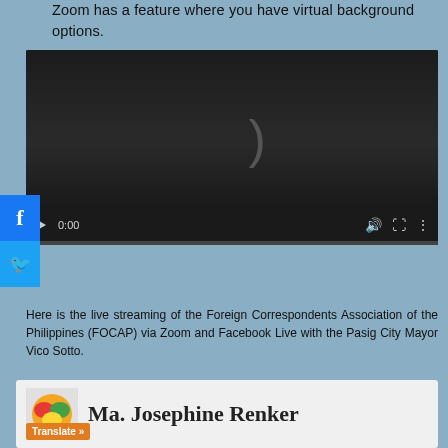Zoom has a feature where you have virtual background options.
[Figure (screenshot): Embedded video player with dark background showing a video at 0:00 with playback controls including play button, time display, volume, fullscreen, and more options icons.]
Here is the live streaming of the Foreign Correspondents Association of the Philippines (FOCAP) via Zoom and Facebook Live with the Pasig City Mayor Vico Sotto.
[Figure (other): Author box showing an avatar with colorful icon and a Translate button, alongside the name Ma. Josephine Renker]